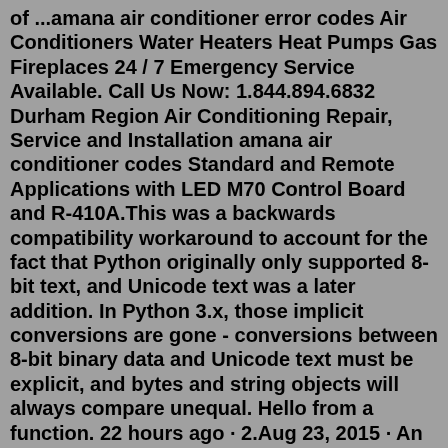of ...amana air conditioner error codes Air Conditioners Water Heaters Heat Pumps Gas Fireplaces 24 / 7 Emergency Service Available. Call Us Now: 1.844.894.6832 Durham Region Air Conditioning Repair, Service and Installation amana air conditioner codes Standard and Remote Applications with LED M70 Control Board and R-410A.This was a backwards compatibility workaround to account for the fact that Python originally only supported 8-bit text, and Unicode text was a later addition. In Python 3.x, those implicit conversions are gone - conversions between 8-bit binary data and Unicode text must be explicit, and bytes and string objects will always compare unequal. Hello from a function. 22 hours ago · 2.Aug 23, 2015 · An Amana furnace and air conditioner were purchased in Dec 2013 after my 21 year old furnace died. The Amana furnace first broke down and stopped cycling Feb 2014. The air conditioner first broke down and blew warm air in June 2015. Since the first breakdowns the air conditioner broke again